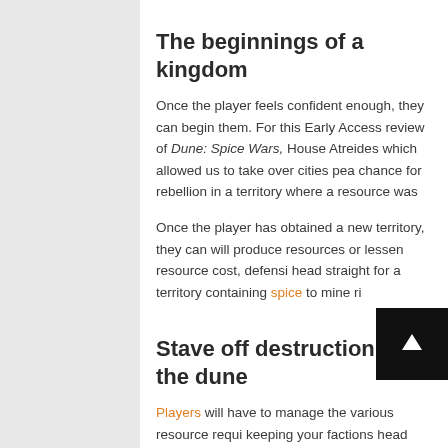The beginnings of a kingdom
Once the player feels confident enough, they can begin them. For this Early Access review of Dune: Spice Wars, House Atreides which allowed us to take over cities pea chance for rebellion in a territory where a resource was
Once the player has obtained a new territory, they can will produce resources or lessen resource cost, defensi head straight for a territory containing spice to mine ri
Stave off destruction in the dune
Players will have to manage the various resource requi keeping your factions head above water, but Sh and diplomacy. Players can trade variou ials with make additional agreements regarding borders, spice,